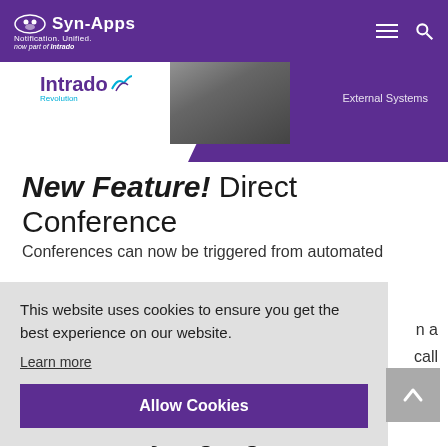Syn-Apps Notification. Unified. now part of Intrado
[Figure (screenshot): Hero banner showing Intrado Revolution logo on left, dark device image in center, purple diagonal background with 'External Systems' text on right]
New Feature! Direct Conference
Conferences can now be triggered from automated
This website uses cookies to ensure you get the best experience on our website. Learn more
n a call
Allow Cookies
Noteworthy Highlights